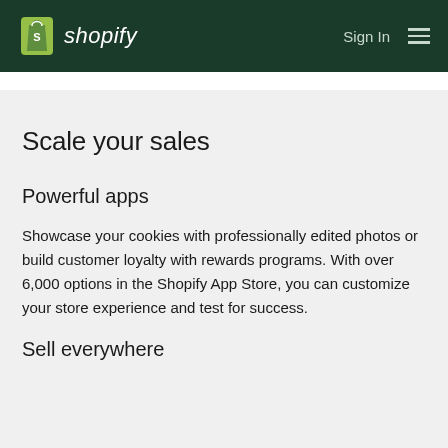shopify  Sign In
Scale your sales
Powerful apps
Showcase your cookies with professionally edited photos or build customer loyalty with rewards programs. With over 6,000 options in the Shopify App Store, you can customize your store experience and test for success.
Sell everywhere